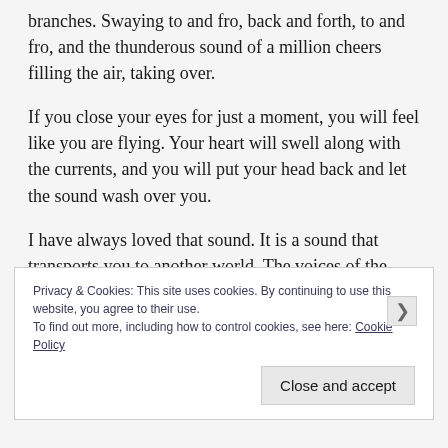branches. Swaying to and fro, back and forth, to and fro, and the thunderous sound of a million cheers filling the air, taking over.
If you close your eyes for just a moment, you will feel like you are flying. Your heart will swell along with the currents, and you will put your head back and let the sound wash over you.
I have always loved that sound. It is a sound that transports you to another world. The voices of the earth and humanity become distant memories in the background, life recedes in the face of this magnificent
Privacy & Cookies: This site uses cookies. By continuing to use this website, you agree to their use.
To find out more, including how to control cookies, see here: Cookie Policy
Close and accept